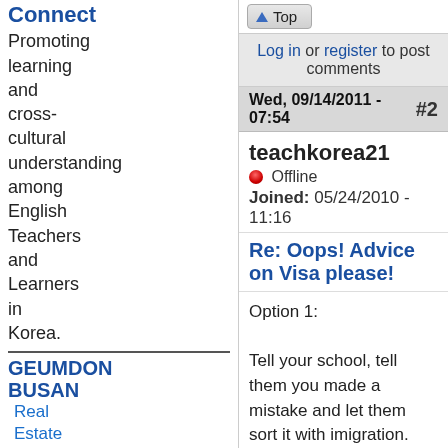Connect
Promoting learning and cross-cultural understanding among English Teachers and Learners in Korea.
GEUMDON BUSAN
Real Estate
Top
Log in or register to post comments
Wed, 09/14/2011 - 07:54   #2
teachkorea21
Offline
Joined: 05/24/2010 - 11:16
Re: Oops! Advice on Visa please!
Option 1:

Tell your school, tell them you made a mistake and let them sort it with imigration. Likely it will cost some money to fiex but is probably not the end of the world.

Option 2: